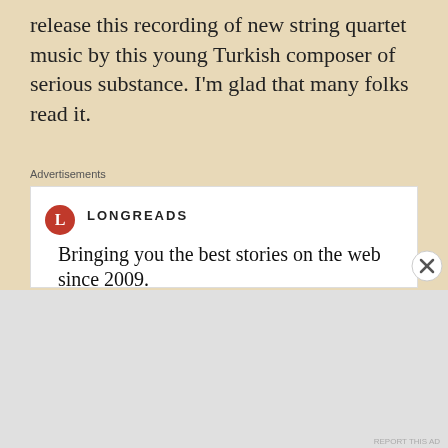release this recording of new string quartet music by this young Turkish composer of serious substance. I'm glad that many folks read it.
Advertisements
[Figure (screenshot): Longreads advertisement: logo with red circle L, text 'LONGREADS', tagline 'Bringing you the best stories on the web since 2009.', red 'Start reading' button]
Advertisements
[Figure (screenshot): Automattic advertisement: blue background, text 'AUTOMATTIC', tagline 'Love working again.']